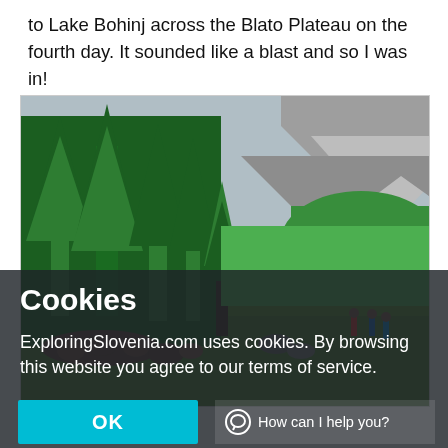to Lake Bohinj across the Blato Plateau on the fourth day. It sounded like a blast and so I was in!
[Figure (photo): Alpine landscape with tall evergreen trees, rocky mountain peak in background, hikers and a flock of sheep/cattle on a mountain trail with green meadows]
Cookies
ExploringSlovenia.com uses cookies. By browsing this website you agree to our terms of service.
OK
How can I help you?